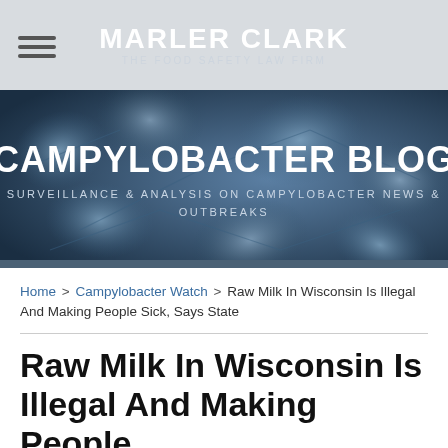MARLER CLARK THE FOOD SAFETY LAW FIRM
[Figure (illustration): Campylobacter Blog banner with microscopic bacteria background image in blue tones]
CAMPYLOBACTER BLOG
SURVEILLANCE & ANALYSIS ON CAMPYLOBACTER NEWS & OUTBREAKS
Home > Campylobacter Watch > Raw Milk In Wisconsin Is Illegal And Making People Sick, Says State
Raw Milk In Wisconsin Is Illegal And Making People Sick, Says State